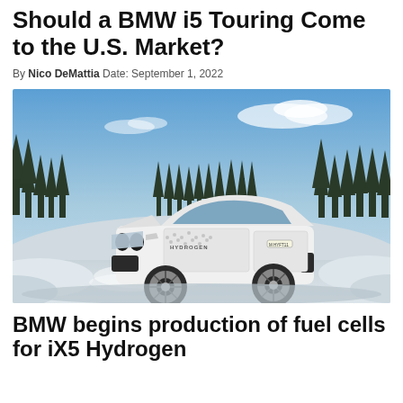Should a BMW i5 Touring Come to the U.S. Market?
By Nico DeMattia Date: September 1, 2022
[Figure (photo): A white BMW iX5 Hydrogen SUV driving on a snowy road, with pine trees and blue sky in the background. The car has prototype camouflage dots and HYDROGEN lettering on the door.]
BMW begins production of fuel cells for iX5 Hydrogen